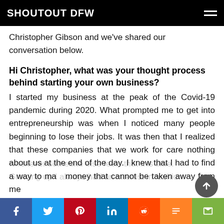SHOUTOUT DFW
Christopher Gibson and we've shared our conversation below.
Hi Christopher, what was your thought process behind starting your own business?
I started my business at the peak of the Covid-19 pandemic during 2020. What prompted me to get into entrepreneurship was when I noticed many people beginning to lose their jobs. It was then that I realized that these companies that we work for care nothing about us at the end of the day. I knew that I had to find a way to make money that cannot be taken away from me whenever someone else feels that it is time. Growing up I always had an interest in fashion.
f  t  p  in  reddit  m  email